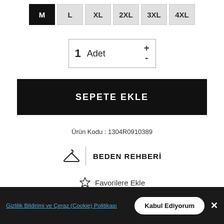M (selected), L, XL, 2XL, 3XL, 4XL
1 Adet
SEPETE EKLE
Ürün Kodu : 1304R0910389
BEDEN REHBERİ
Favorilere Ekle
[Figure (infographic): YERLİ ÜRETİM badge with handshake icon]
Kargo Bedava
Yukarı Çık
Gizlilik Bildirimi ve Çeraz (Cookie) Politikası
Kabul Ediyorum
Üyelik  Favorilerim  Mağaza Bulucu  Sepetim